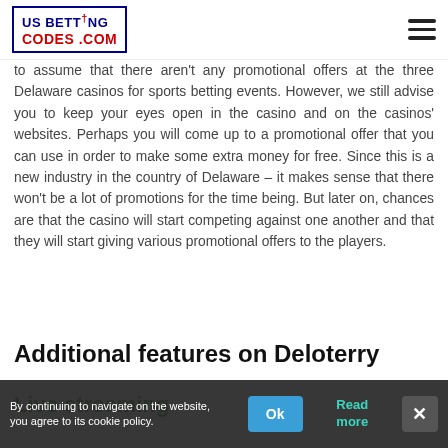US BETTING CODES .COM
to assume that there aren't any promotional offers at the three Delaware casinos for sports betting events. However, we still advise you to keep your eyes open in the casino and on the casinos' websites. Perhaps you will come up to a promotional offer that you can use in order to make some extra money for free. Since this is a new industry in the country of Delaware – it makes sense that there won't be a lot of promotions for the time being. But later on, chances are that the casino will start competing against one another and that they will start giving various promotional offers to the players.
Additional features on Deloterry
Live streaming
By continuing to navigate on the website, you agree to its cookie policy.